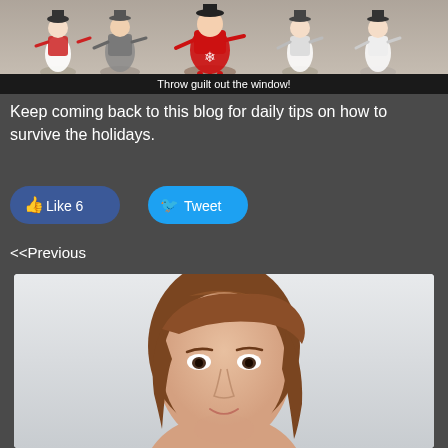[Figure (illustration): Holiday decorative figures (snowmen/angels) with TLCWellnessCoaching.com text and black banner saying 'Throw guilt out the window!']
Keep coming back to this blog for daily tips on how to survive the holidays.
[Figure (infographic): Facebook Like (6) button and Twitter Tweet button]
<<Previous
[Figure (photo): Portrait photo of a woman with brown hair against a light grey background]